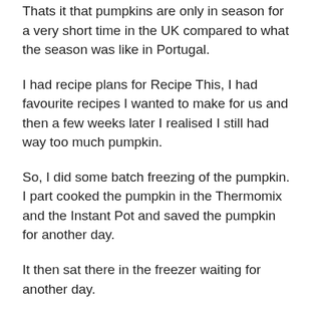Thats it that pumpkins are only in season for a very short time in the UK compared to what the season was like in Portugal.
I had recipe plans for Recipe This, I had favourite recipes I wanted to make for us and then a few weeks later I realised I still had way too much pumpkin.
So, I did some batch freezing of the pumpkin. I part cooked the pumpkin in the Thermomix and the Instant Pot and saved the pumpkin for another day.
It then sat there in the freezer waiting for another day.